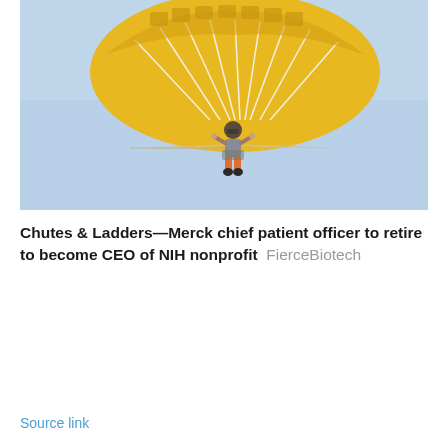[Figure (photo): A person skydiving with a large yellow parachute canopy open against a clear blue sky background. The parachutist is suspended below the canopy holding the risers, wearing orange pants.]
Chutes & Ladders—Merck chief patient officer to retire to become CEO of NIH nonprofit  FierceBiotech
Source link